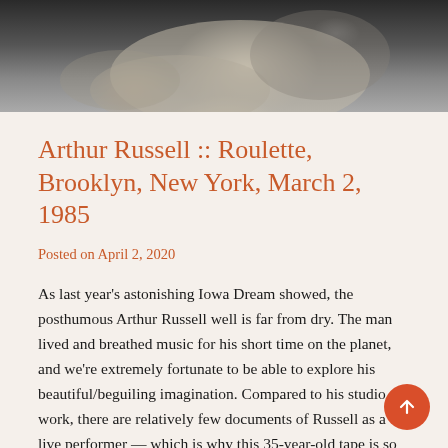[Figure (photo): Black and white photograph, partial view of an animal (appears to be a sheep or similar), cropped at the top of the page]
Arthur Russell :: Roulette, Brooklyn, New York, March 2, 1985
Posted on April 2, 2020
As last year's astonishing Iowa Dream showed, the posthumous Arthur Russell well is far from dry. The man lived and breathed music for his short time on the planet, and we're extremely fortunate to be able to explore his beautiful/beguiling imagination. Compared to his studio work, there are relatively few documents of Russell as a live performer — which is why this 35-year-old tape is so precious.